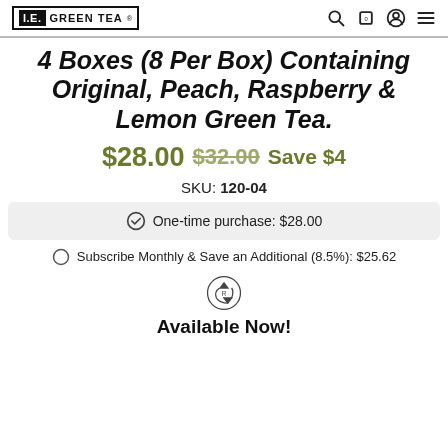I.E. GREEN TEA
4 Boxes (8 Per Box) Containing Original, Peach, Raspberry & Lemon Green Tea.
$28.00 $32.00 Save $4
SKU: 120-04
One-time purchase: $28.00
Subscribe Monthly & Save an Additional (8.5%): $25.62
[Figure (logo): Recycled/certified packaging icon]
Available Now!